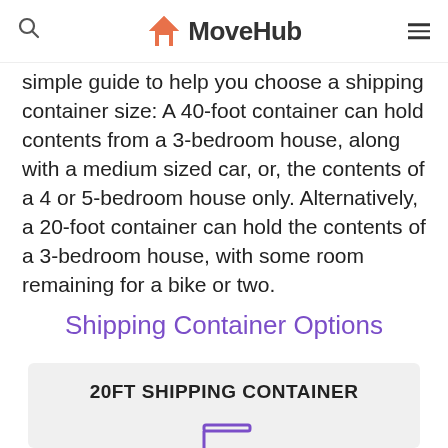MoveHub
simple guide to help you choose a shipping container size: A 40-foot container can hold contents from a 3-bedroom house, along with a medium sized car, or, the contents of a 4 or 5-bedroom house only. Alternatively, a 20-foot container can hold the contents of a 3-bedroom house, with some room remaining for a bike or two.
Shipping Container Options
[Figure (infographic): 20FT SHIPPING CONTAINER infographic card with a purple container icon on a light grey background]